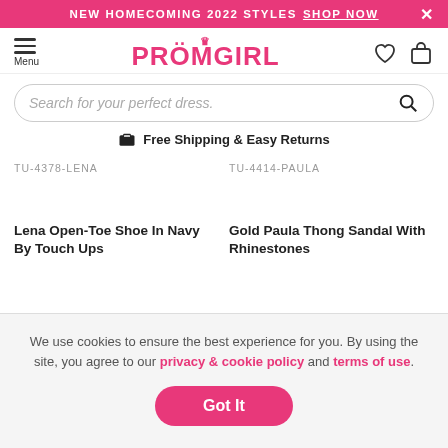NEW HOMECOMING 2022 STYLES  SHOP NOW  ×
[Figure (logo): PromGirl logo in pink with crown icon, hamburger menu icon labeled Menu, heart icon and shopping bag icon]
Search for your perfect dress.
Free Shipping & Easy Returns
TU-4378-LENA
TU-4414-PAULA
Lena Open-Toe Shoe In Navy By Touch Ups
Gold Paula Thong Sandal With Rhinestones
We use cookies to ensure the best experience for you. By using the site, you agree to our privacy & cookie policy and terms of use.
Got It